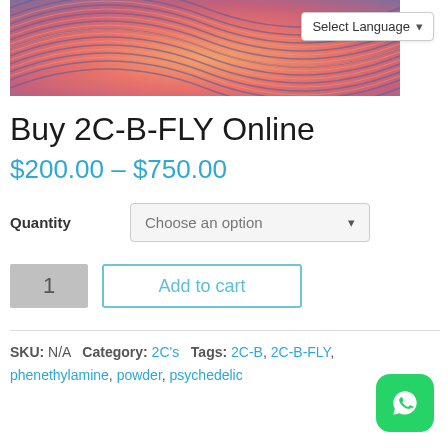[Figure (illustration): Psychedelic swirling pattern banner in orange, pink, and purple tones with a Select Language dropdown button in the top right corner]
Buy 2C-B-FLY Online
$200.00 – $750.00
Quantity: Choose an option
1  Add to cart
SKU: N/A  Category: 2C's  Tags: 2C-B, 2C-B-FLY, phenethylamine, powder, psychedelic